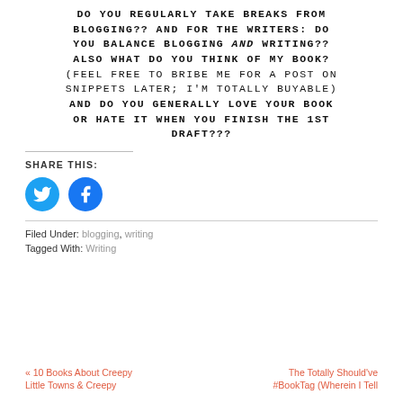DO YOU REGULARLY TAKE BREAKS FROM BLOGGING?? AND FOR THE WRITERS: DO YOU BALANCE BLOGGING AND WRITING?? ALSO WHAT DO YOU THINK OF MY BOOK? (FEEL FREE TO BRIBE ME FOR A POST ON SNIPPETS LATER; I'M TOTALLY BUYABLE) AND DO YOU GENERALLY LOVE YOUR BOOK OR HATE IT WHEN YOU FINISH THE 1ST DRAFT???
SHARE THIS:
[Figure (other): Twitter and Facebook share icon buttons (blue circles with bird and f logos)]
Filed Under: blogging, writing
Tagged With: Writing
« 10 Books About Creepy Little Towns & Creepy | The Totally Should've #BookTag (Wherein I Tell